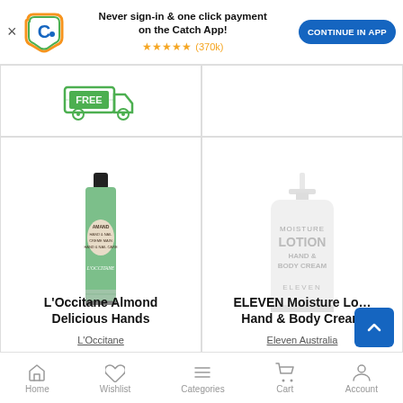[Figure (screenshot): Catch app promotional banner with logo, star rating (370k reviews), and 'CONTINUE IN APP' button]
Never sign-in & one click payment on the Catch App!
★★★★★ (370k)
[Figure (infographic): Free delivery icon (truck with FREE label)]
[Figure (photo): L'Occitane Almond hand cream tube in green]
L'Occitane Almond Delicious Hands
L'Occitane
[Figure (photo): ELEVEN Moisture Lotion Hand & Body Cream white pump bottle]
ELEVEN Moisture Lo... Hand & Body Cream
Eleven Australia
Home   Wishlist   Categories   Cart   Account